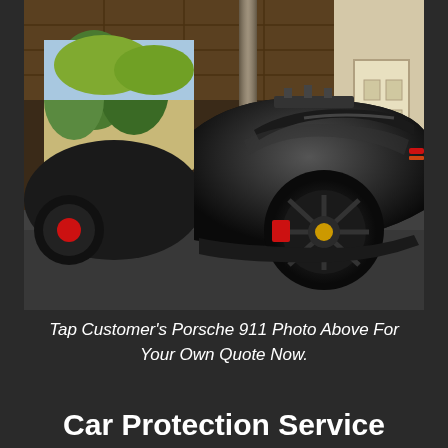[Figure (photo): A black Porsche 911 sports car photographed from the rear quarter angle inside a residential garage. The car has black alloy wheels with red brake calipers visible. The garage door is open showing trees outside. Warm, moody lighting with a vintage filter. Another dark vehicle partially visible on the left.]
Tap Customer's Porsche 911 Photo Above For Your Own Quote Now.
Car Protection Service